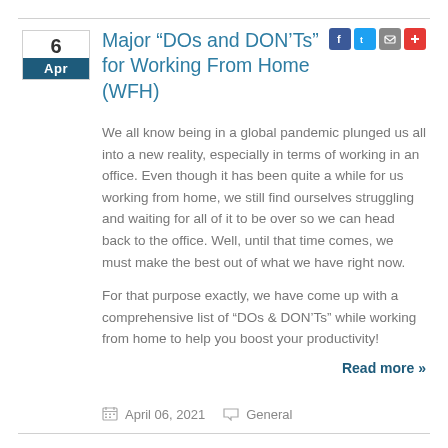Major “DOs and DON’Ts” for Working From Home (WFH)
We all know being in a global pandemic plunged us all into a new reality, especially in terms of working in an office. Even though it has been quite a while for us working from home, we still find ourselves struggling and waiting for all of it to be over so we can head back to the office. Well, until that time comes, we must make the best out of what we have right now.
For that purpose exactly, we have come up with a comprehensive list of “DOs & DON’Ts” while working from home to help you boost your productivity!
Read more »
April 06, 2021    General